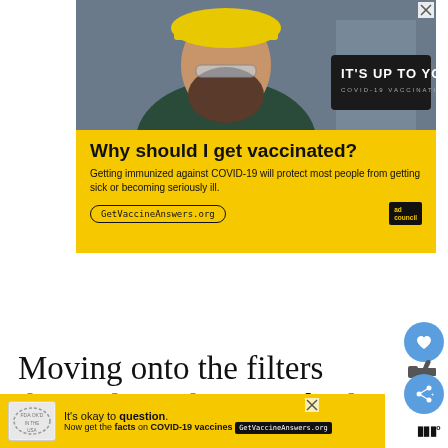[Figure (photo): Advertisement banner: man wearing yellow hard hat and safety glasses with text 'IT'S UP TO YOU COVID-19 VACCINATION' on dark badge, yellow background below with text 'Why should I get vaccinated? Getting immunized against COVID-19 will protect most people from getting sick or becoming seriously ill.' with GetVaccineAnswers.org link and Ad Council logo]
Moving onto the filters themselves, these are built with an aluminium
[Figure (infographic): Small bottom banner ad: 'It's okay to question. Now get the facts on COVID-19 vaccines GetVaccineAnswers.org' on yellow background with stamp logo]